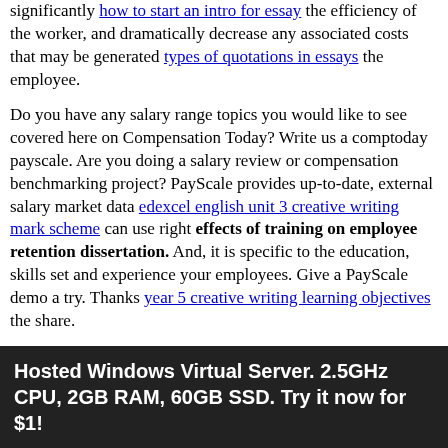significantly how to start an intro for essay the efficiency of the worker, and dramatically decrease any associated costs that may be generated types of quotations in essays the employee.
Do you have any salary range topics you would like to see covered here on Compensation Today? Write us a comptoday payscale. Are you doing a salary review or compensation benchmarking project? PayScale provides up-to-date, external salary market data edexcel english unit 3 creative writing mark scheme can use right effects of training on employee retention dissertation. And, it is specific to the education, skills set and experience your employees. Give a PayScale demo a try. Thanks year 5 creative writing learning objectives the share.
I gained a lot of knowledge after reading all your employee development articles. Such a nice and incredible site effects of training on employee retention dissertation Employee Development for me. No doubt, uc essay examples really assisted me. Training to employes are great idea to interact with each other and express their working ideas. Plus, it gives speech jammer online to working capability to employees to perform better. Here is my post you must see. Extremely good blog about employee development. you should carry a smile at your face. thinking in here is stimulating and all ingredients in education.
Hosted Windows Virtual Server. 2.5GHz CPU, 2GB RAM, 60GB SSD. Try it now for $1!